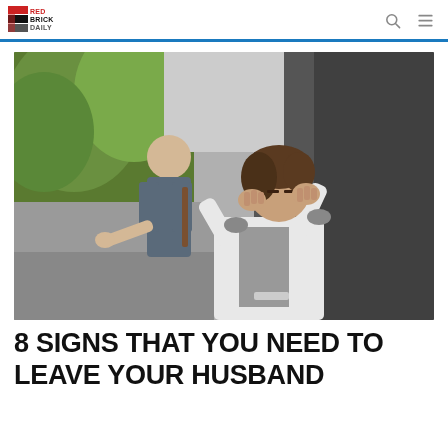RED BRICK DAILY
[Figure (photo): A distressed woman in a white blazer holding her head in her hands, with a man gesturing behind her in an outdoor urban setting]
8 SIGNS THAT YOU NEED TO LEAVE YOUR HUSBAND